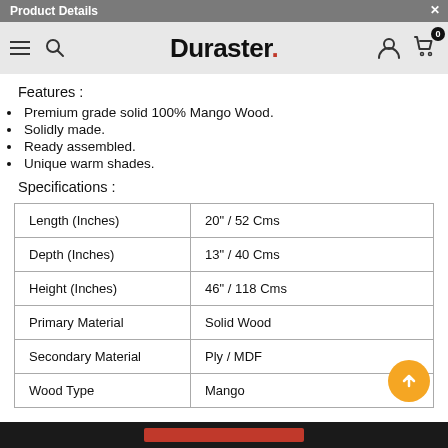Product Details | Duraster.
Features :
Premium grade solid 100% Mango Wood.
Solidly made.
Ready assembled.
Unique warm shades.
Specifications :
|  |  |
| --- | --- |
| Length (Inches) | 20" / 52 Cms |
| Depth (Inches) | 13" / 40 Cms |
| Height (Inches) | 46" / 118 Cms |
| Primary Material | Solid Wood |
| Secondary Material | Ply / MDF |
| Wood Type | Mango |